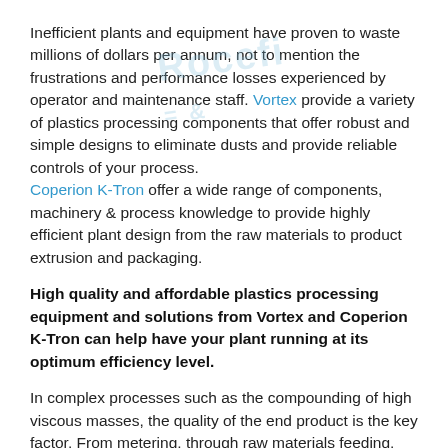Inefficient plants and equipment have proven to waste millions of dollars per annum, not to mention the frustrations and performance losses experienced by operator and maintenance staff. Vortex provide a variety of plastics processing components that offer robust and simple designs to eliminate dusts and provide reliable controls of your process. Coperion K-Tron offer a wide range of components, machinery & process knowledge to provide highly efficient plant design from the raw materials to product extrusion and packaging.
High quality and affordable plastics processing equipment and solutions from Vortex and Coperion K-Tron can help have your plant running at its optimum efficiency level.
In complex processes such as the compounding of high viscous masses, the quality of the end product is the key factor. From metering, through raw materials feeding,